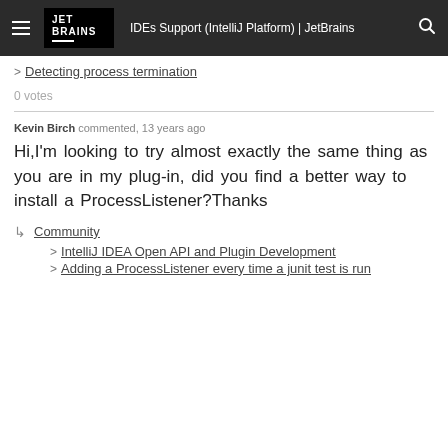IDEs Support (IntelliJ Platform) | JetBrains
> Detecting process termination
0 votes
Kevin Birch commented, 13 years ago
Hi,I'm looking to try almost exactly the same thing as you are in my plug-in, did you find a better way to install a ProcessListener?Thanks
Community > IntelliJ IDEA Open API and Plugin Development > Adding a ProcessListener every time a junit test is run